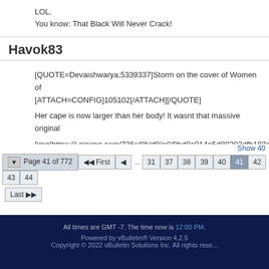LOL.
You know: That Black Will Never Crack!
Havok83
[QUOTE=Devaishwarya;5339337]Storm on the cover of Women of
[ATTACH=CONFIG]105102[/ATTACH][/QUOTE]

Her cape is now larger than her body! It wasnt that massive original

[img]https://i.pinimg.com/736x/8b/d8/a0/8bd8a014a5d88302dfb183c...

I do like the addition of the purple though
All times are GMT -7. The time now is 12:00 PM.
Powered by vBulletin® Version 4.2.5
Copyright © 2022 vBulletin Solutions Inc. All rights rese...